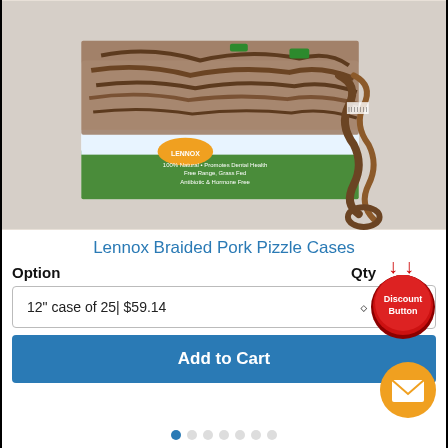[Figure (photo): Box of Lennox Braided Pork Pizzle dog treats with a braided stick shown next to the box. The box shows the Lennox logo and text: 100% Natural, Promotes Dental Health, Free Range, Grass Fed, Antibiotic & Hormone Free.]
Lennox Braided Pork Pizzle Cases
Option   Qty
12" case of 25| $59.14
Add to Cart